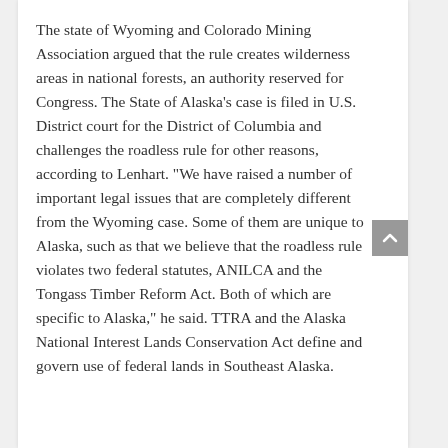The state of Wyoming and Colorado Mining Association argued that the rule creates wilderness areas in national forests, an authority reserved for Congress. The State of Alaska's case is filed in U.S. District court for the District of Columbia and challenges the roadless rule for other reasons, according to Lenhart. “We have raised a number of important legal issues that are completely different from the Wyoming case. Some of them are unique to Alaska, such as that we believe that the roadless rule violates two federal statutes, ANILCA and the Tongass Timber Reform Act. Both of which are specific to Alaska,” he said. TTRA and the Alaska National Interest Lands Conservation Act define and govern use of federal lands in Southeast Alaska.